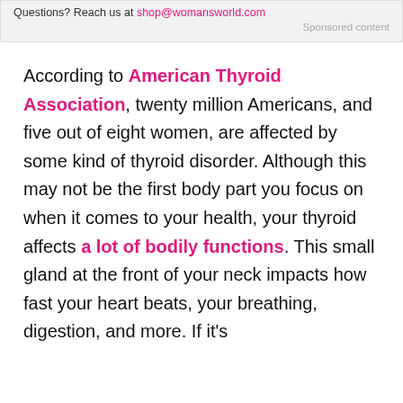Questions? Reach us at shop@womansworld.com
Sponsored content
According to American Thyroid Association, twenty million Americans, and five out of eight women, are affected by some kind of thyroid disorder. Although this may not be the first body part you focus on when it comes to your health, your thyroid affects a lot of bodily functions. This small gland at the front of your neck impacts how fast your heart beats, your breathing, digestion, and more. If it's